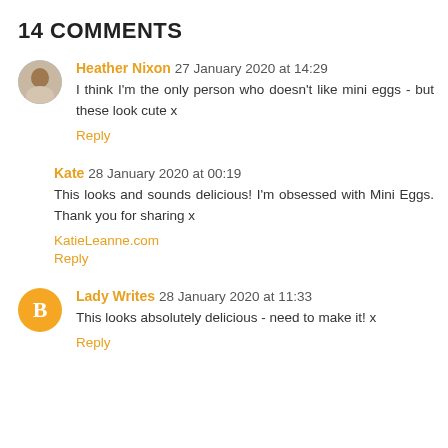14 COMMENTS
Heather Nixon 27 January 2020 at 14:29
I think I'm the only person who doesn't like mini eggs - but these look cute x
Reply
Kate 28 January 2020 at 00:19
This looks and sounds delicious! I'm obsessed with Mini Eggs. Thank you for sharing x
KatieLeanne.com
Reply
Lady Writes 28 January 2020 at 11:33
This looks absolutely delicious - need to make it! x
Reply